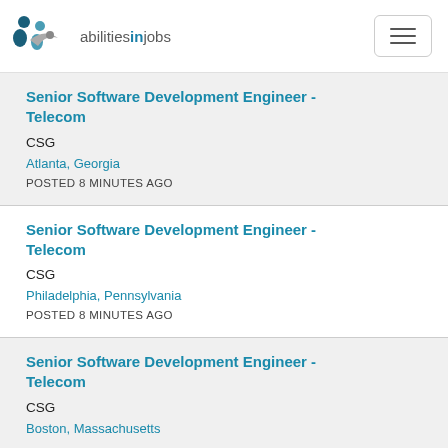[Figure (logo): abilitiesinjobs logo with stylized figures and text]
Senior Software Development Engineer - Telecom
CSG
Atlanta, Georgia
POSTED 8 MINUTES AGO
Senior Software Development Engineer - Telecom
CSG
Philadelphia, Pennsylvania
POSTED 8 MINUTES AGO
Senior Software Development Engineer - Telecom
CSG
Boston, Massachusetts